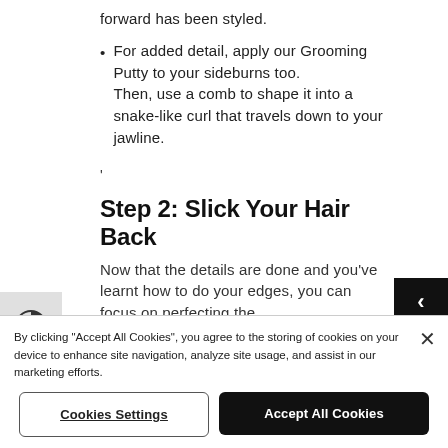forward has been styled.
For added detail, apply our Grooming Putty to your sideburns too. Then, use a comb to shape it into a snake-like curl that travels down to your jawline.
'
Step 2: Slick Your Hair Back
Now that the details are done and you've learnt how to do your edges, you can focus on perfecting the
By clicking "Accept All Cookies", you agree to the storing of cookies on your device to enhance site navigation, analyze site usage, and assist in our marketing efforts.
Cookies Settings
Accept All Cookies